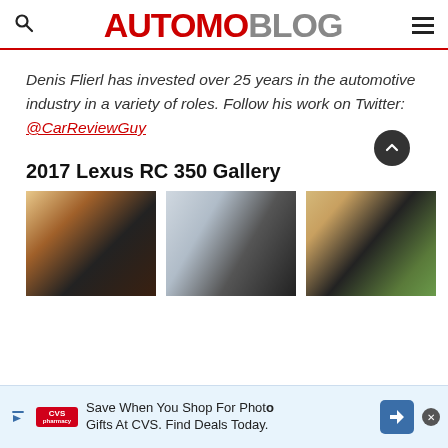AUTOMOBLOG
Denis Flierl has invested over 25 years in the automotive industry in a variety of roles. Follow his work on Twitter: @CarReviewGuy
2017 Lexus RC 350 Gallery
[Figure (photo): Three car interior/exterior photos of the 2017 Lexus RC 350 in a gallery strip]
Save When You Shop For Photo Gifts At CVS. Find Deals Today.